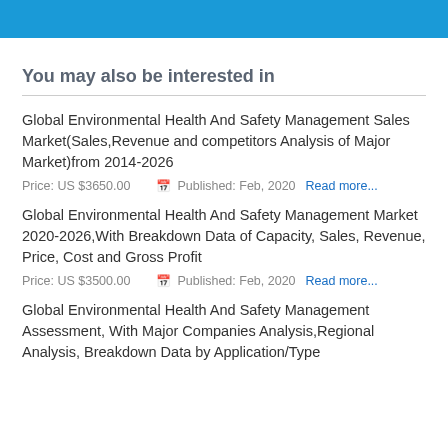You may also be interested in
Global Environmental Health And Safety Management Sales Market(Sales,Revenue and competitors Analysis of Major Market)from 2014-2026
Price: US $3650.00   Published: Feb, 2020   Read more...
Global Environmental Health And Safety Management Market 2020-2026,With Breakdown Data of Capacity, Sales, Revenue, Price, Cost and Gross Profit
Price: US $3500.00   Published: Feb, 2020   Read more...
Global Environmental Health And Safety Management Assessment, With Major Companies Analysis,Regional Analysis, Breakdown Data by Application/Type